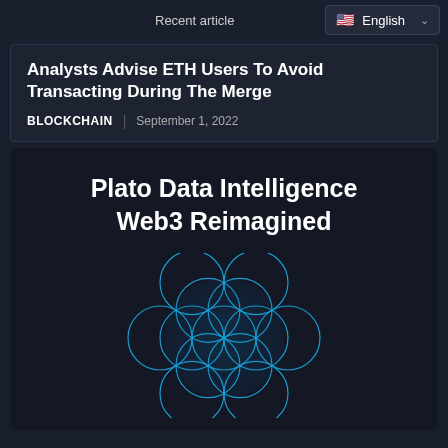Recent article
English
Analysts Advise ETH Users To Avoid Transacting During The Merge
BLOCKCHAIN | September 1, 2022
[Figure (logo): Plato Data Intelligence Web3 Reimagined logo with a blue flower of life / sacred geometry pattern on dark background]